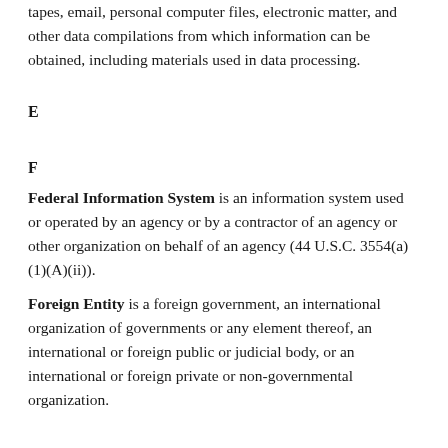Documents also include voice records, film, tapes, video tapes, email, personal computer files, electronic matter, and other data compilations from which information can be obtained, including materials used in data processing.
E
F
Federal Information System is an information system used or operated by an agency or by a contractor of an agency or other organization on behalf of an agency (44 U.S.C. 3554(a)(1)(A)(ii)).
Foreign Entity is a foreign government, an international organization of governments or any element thereof, an international or foreign public or judicial body, or an international or foreign private or non-governmental organization.